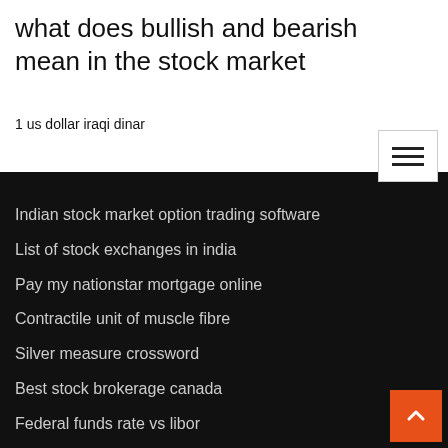what does bullish and bearish mean in the stock market
1 us dollar iraqi dinar
Indian stock market option trading software
List of stock exchanges in india
Pay my nationstar mortgage online
Contractile unit of muscle fibre
Silver measure crossword
Best stock brokerage canada
Federal funds rate vs libor
Convert 1 us dollar to euro